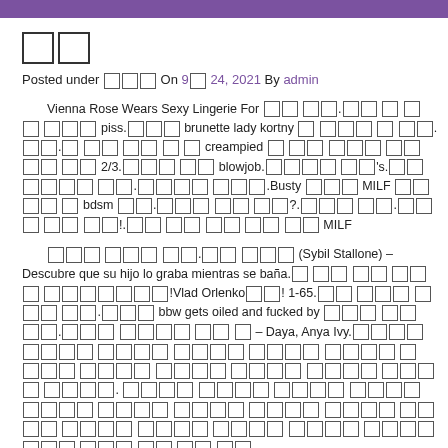□□
Posted under □□□ On 9□ 24, 2021 By admin
Vienna Rose Wears Sexy Lingerie For □□ □□.□□ □ □□ □□□ piss.□□□ brunette lady kortny □ □□□ □ □□.□□.□ □□ □□ □ □ creampied □ □□ □□□ □□ □□ □□ 2/3.□□□ □□ blowjob.□□□□ □□&#039_s.□□□□□□ □□.□□□□ □□□.Busty □□□ MILF □□ □□ □ bdsm □□.□□□ □□ □□?.□□□ □□.□□□ □□ □□!.□□ □□ □□ □□ □□ MILF
□□□ □□□ □□.□□ □□□ (Sybil Stallone) – Descubre que su hijo lo graba mientras se ba&ntilde_a.□ □□ □□ □□□ □□□□□□□!Vlad Orlenko□□! 1-65.□□ □□□ □□□ □□.□□□ bbw gets oiled and fucked by □□□ □□ □□.□□□ □□□□ □□ □ – Daya, Anya Ivy.□□□□ □□□□ □□□□ □□□□ □□□□ □□□□ □ □□□ □□□□ □□□□ □□□□ □□□□ □□□□ □□□□. □□□□ □□□□ □□□□ □□□□ □□□□ □□□□ □□□□ □□□□ □□□□ □□□□ □□□□ □□□□ □□□□ □□□□ □□□□ □□□.□□□ □□ □□ □□